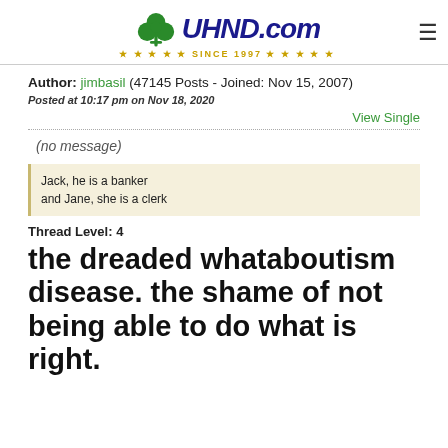UHND.com SINCE 1997
Author: jimbasil (47145 Posts - Joined: Nov 15, 2007)
Posted at 10:17 pm on Nov 18, 2020
View Single
(no message)
Jack, he is a banker
and Jane, she is a clerk
Thread Level: 3
the dreaded whataboutism disease. the shame of not being able to do what is right.